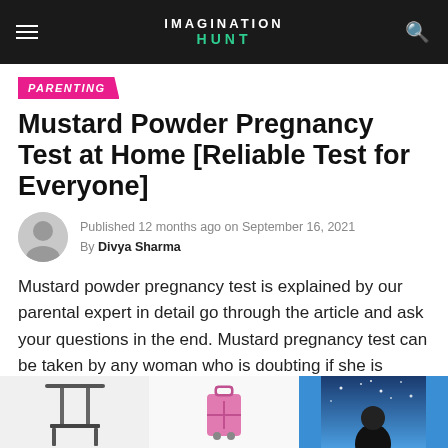IMAGINATION HUNT
PARENTING
Mustard Powder Pregnancy Test at Home [Reliable Test for Everyone]
Published 12 months ago on September 16, 2021
By Divya Sharma
Mustard powder pregnancy test is explained by our parental expert in detail go through the article and ask your questions in the end. Mustard pregnancy test can be taken by any woman who is doubting if she is pregnant or not.
Shop Now
[Figure (photo): Three product images partially visible at bottom: a black table/stand, a pink luggage/suitcase on wheels, and a blue starry night scene with a figure silhouette]